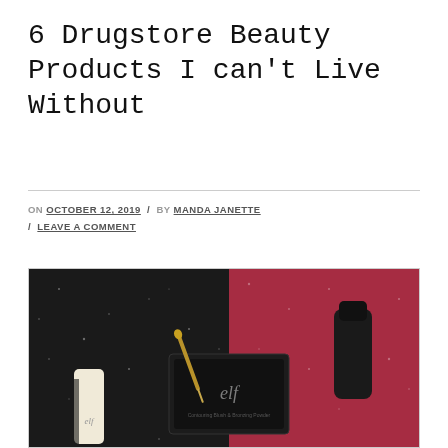6 Drugstore Beauty Products I can't Live Without
ON OCTOBER 12, 2019 / BY MANDA JANETTE / LEAVE A COMMENT
[Figure (photo): Flat lay of drugstore beauty products including e.l.f. contouring blush & bronzing powder compact, a makeup brush, an e.l.f. product tube, and other cosmetics on a black and pink glitter background.]